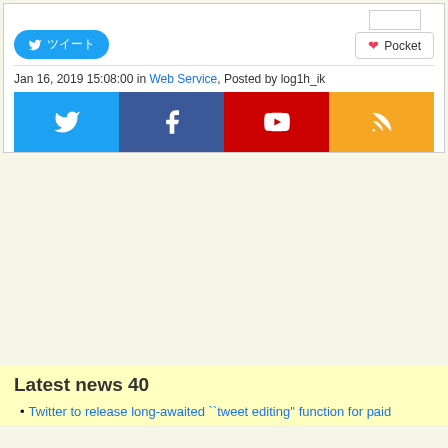[Figure (screenshot): Tweet button (blue rounded) with Japanese text and Pocket button (white with red heart icon), along with a counter box above Pocket button]
Jan 16, 2019 15:08:00 in Web Service, Posted by log1h_ik
[Figure (infographic): Social media icon bar with four buttons: Twitter (blue bird), Facebook (blue f), YouTube (red play button), RSS (orange feed icon)]
[Figure (other): Advertisement area with beige/yellow background]
Latest news 40
Twitter to release long-awaited ``tweet editing'' function for paid